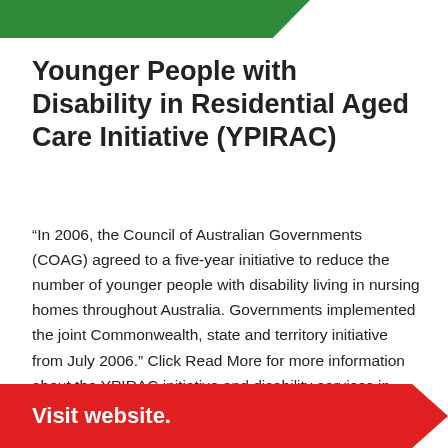[Figure (illustration): Green chevron/arrow banner at the top of the page]
Younger People with Disability in Residential Aged Care Initiative (YPIRAC)
“In 2006, the Council of Australian Governments (COAG) agreed to a five-year initiative to reduce the number of younger people with disability living in nursing homes throughout Australia. Governments implemented the joint Commonwealth, state and territory initiative from July 2006.” Click Read More for more information about the YPIRAC initiative and disability services in each state and territory.
[Figure (illustration): Red chevron/arrow banner at the bottom reading 'Visit website.']